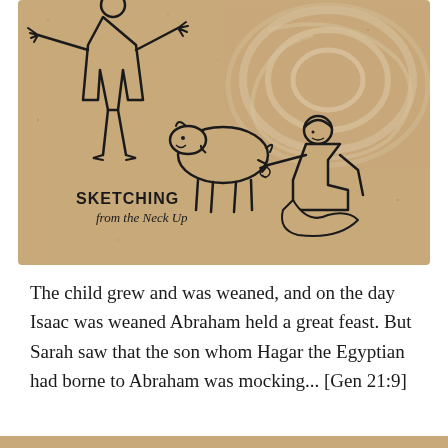[Figure (illustration): Line sketch drawing on tan/kraft paper background showing a standing figure with outstretched arms on the left, a young animal (lamb/goat) in the center, and a kneeling/crouching figure on the right interacting with the animal. In the lower left corner text reads 'SKETCHING from the Neck Up'. A swirling white pattern appears in the upper right background.]
The child grew and was weaned, and on the day Isaac was weaned Abraham held a great feast. But Sarah saw that the son whom Hagar the Egyptian had borne to Abraham was mocking... [Gen 21:9]